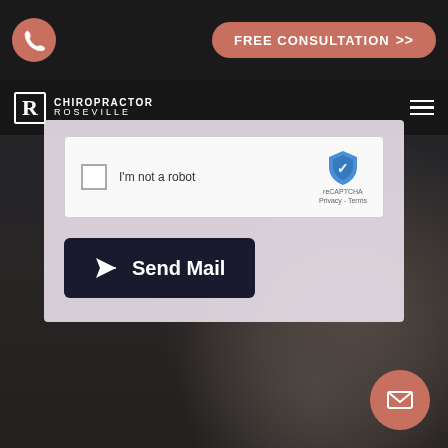[Figure (screenshot): Chiropractor Roseville website screenshot showing a contact form with reCAPTCHA and Send Mail button over a dark background with a chiropractor treating a patient]
FREE CONSULTATION >>
[Figure (logo): Chiropractor Roseville logo with stylized R and text CHIROPRACTOR ROSEVILLE]
I'm not a robot
reCAPTCHA
Privacy - Terms
Send Mail